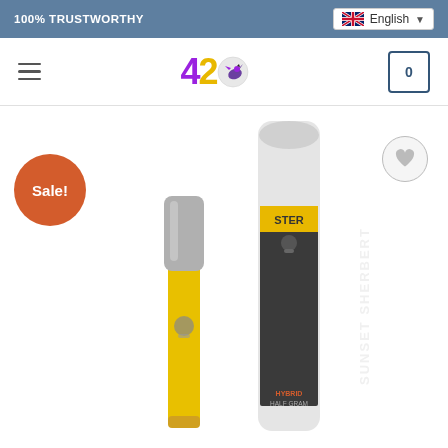100% TRUSTWORTHY
[Figure (screenshot): Website navigation bar with 420 logo (purple and yellow text with flying horse icon), hamburger menu on left, shopping cart icon (showing 0) on right]
[Figure (photo): Product photo of Sunset Sherbert vape cartridge with packaging tube labeled 'SUNSET SHERBERT HYBRID HALF GRAM' with a punisher skull logo on the cartridge, shown against white background with orange Sale badge]
Sale!